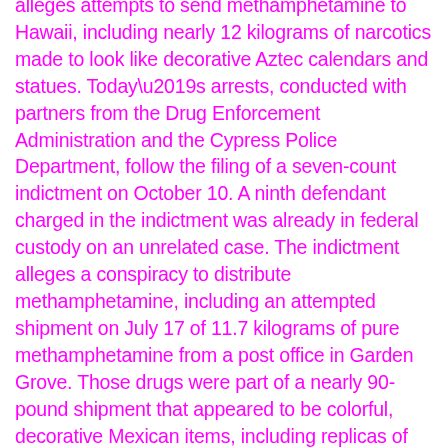alleges attempts to send methamphetamine to Hawaii, including nearly 12 kilograms of narcotics made to look like decorative Aztec calendars and statues. Today's arrests, conducted with partners from the Drug Enforcement Administration and the Cypress Police Department, follow the filing of a seven-count indictment on October 10. A ninth defendant charged in the indictment was already in federal custody on an unrelated case. The indictment alleges a conspiracy to distribute methamphetamine, including an attempted shipment on July 17 of 11.7 kilograms of pure methamphetamine from a post office in Garden Grove. Those drugs were part of a nearly 90-pound shipment that appeared to be colorful, decorative Mexican items, including replicas of the 500-year-old Aztec calendar stone. “Methamphetamine – no matter how it’s packaged